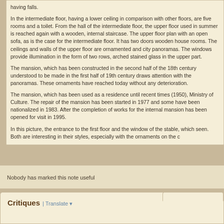having falls. In the intermediate floor, having a lower ceiling in comparison with other floors, are five rooms and a toilet. From the hall of the intermediate floor, the upper floor used in summer is reached again with a wooden, internal staircase. The upper floor plan with an open sofa, as is the case for the intermediate floor. It has two doors wooden house rooms. The ceilings and walls of the upper floor are ornamented and city panoramas. The windows provide illumination in the form of two rows, arched stained glass in the upper part.
The mansion, which has been constructed in the second half of the 18th century understood to be made in the first half of 19th century draws attention with the panoramas. These ornaments have reached today without any deterioration.
The mansion, which has been used as a residence until recent times (1950), Ministry of Culture. The repair of the mansion has been started in 1977 and some have been nationalized in 1983. After the completion of works for the internal mansion has been opened for visit in 1995.
In this picture, the entrance to the first floor and the window of the stable, which seen. Both are interesting in their styles, especially with the ornaments on the c
Nobody has marked this note useful
Critiques | Translate